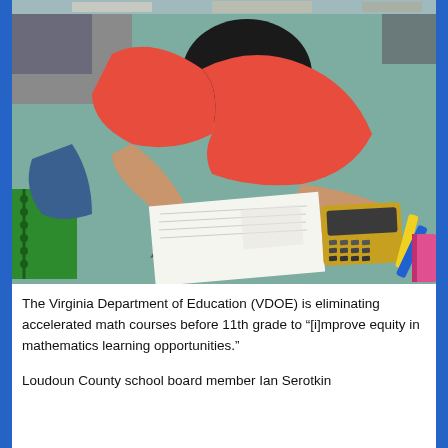[Figure (photo): Overhead view of a young female student with dark hair wearing a red top, writing on a paper worksheet with a pencil while using a graphing calculator on a teal/green desk. Green spiral notebook, yellow and blue highlighters, and pink book visible on the desk.]
The Virginia Department of Education (VDOE) is eliminating accelerated math courses before 11th grade to “[i]mprove equity in mathematics learning opportunities.”
Loudoun County school board member Ian Serotkin